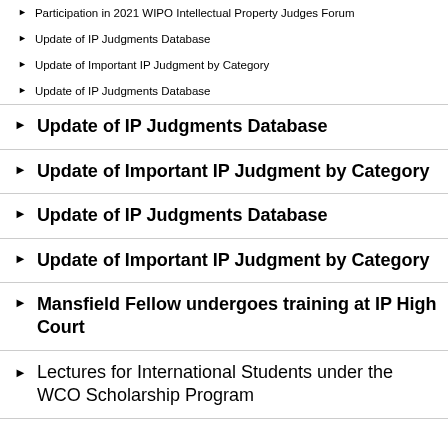Participation in 2021 WIPO Intellectual Property Judges Forum
Update of IP Judgments Database
Update of Important IP Judgment by Category
Update of IP Judgments Database
Update of IP Judgments Database
Update of Important IP Judgment by Category
Update of IP Judgments Database
Update of Important IP Judgment by Category
Mansfield Fellow undergoes training at IP High Court
Lectures for International Students under the WCO Scholarship Program